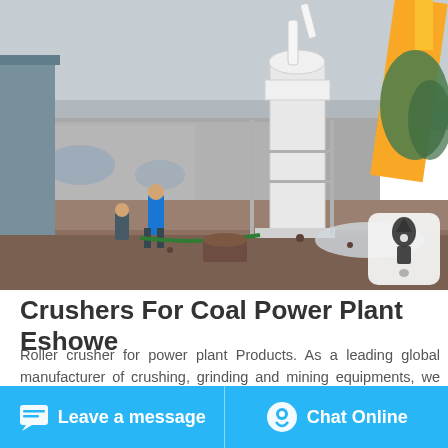[Figure (photo): Outdoor industrial site with workers installing a large white grinding/milling machine tower. A yellow crane arm is visible on the right. Workers in the foreground, a weathered wall in the background with trees and overcast sky. A rocket-shaped notification icon overlay appears in bottom-right corner of the photo.]
Crushers For Coal Power Plant Eshowe
Roller crusher for power plant Products. As a leading global manufacturer of crushing, grinding and mining equipments, we offer advanced, reasonable solutions for any size-reduction
Leave a message   Chat Online